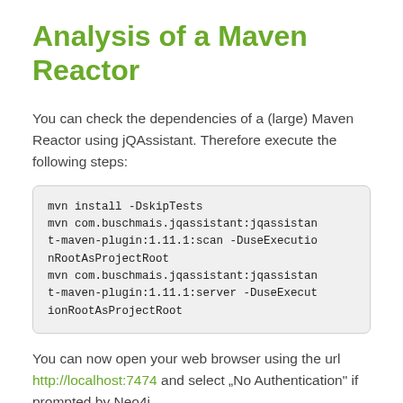Analysis of a Maven Reactor
You can check the dependencies of a (large) Maven Reactor using jQAssistant. Therefore execute the following steps:
mvn install -DskipTests
mvn com.buschmais.jqassistant:jqassistant-maven-plugin:1.11.1:scan -DuseExecutionRootAsProjectRoot
mvn com.buschmais.jqassistant:jqassistant-maven-plugin:1.11.1:server -DuseExecutionRootAsProjectRoot
You can now open your web browser using the url http://localhost:7474 and select „No Authentication“ if prompted by Neo4j.
Now just execute the following query: